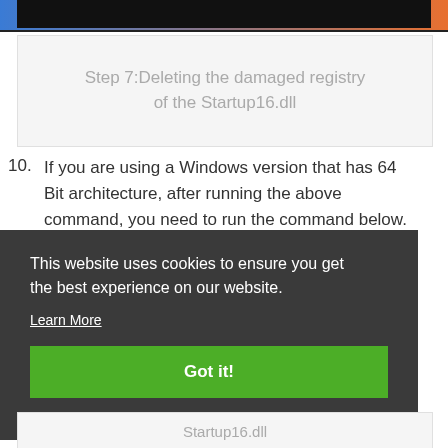[Figure (screenshot): Top image strip showing partial screenshot with dark bar and colorful background]
Step 7:Deleting the damaged registry of the Startup16.dll
If you are using a Windows version that has 64 Bit architecture, after running the above command, you need to run the command below. With this command, you will also be the...
This website uses cookies to ensure you get the best experience on our website.
Learn More
Got it!
Startup16.dll